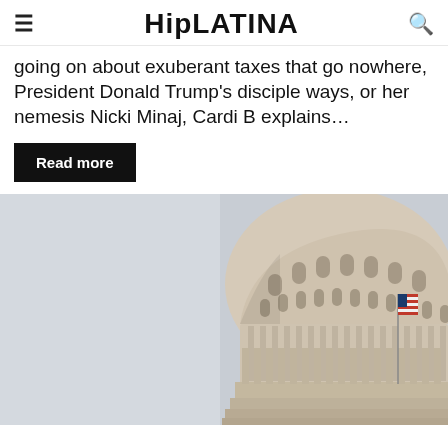HipLATINA
going on about exuberant taxes that go nowhere, President Donald Trump's disciple ways, or her nemesis Nicki Minaj, Cardi B explains...
Read more
[Figure (photo): Photograph of the United States Capitol building dome against a grey sky, with an American flag visible to the right side.]